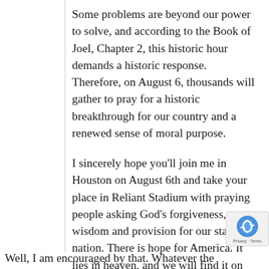Some problems are beyond our power to solve, and according to the Book of Joel, Chapter 2, this historic hour demands a historic response. Therefore, on August 6, thousands will gather to pray for a historic breakthrough for our country and a renewed sense of moral purpose.
I sincerely hope you'll join me in Houston on August 6th and take your place in Reliant Stadium with praying people asking God's forgiveness, wisdom and provision for our state and nation. There is hope for America. It lies in heaven, and we will find it on our knees.
Well, I am encouraged by that. Whatever the